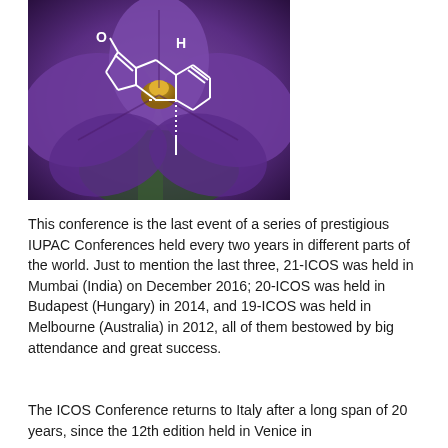[Figure (photo): Photograph of a purple iris flower with a white chemical structure overlay showing a bicyclic organic molecule with a ketone group (C=O) and an H label, depicted with bond lines including dashed and wedge bonds indicating stereochemistry.]
This conference is the last event of a series of prestigious IUPAC Conferences held every two years in different parts of the world. Just to mention the last three, 21-ICOS was held in Mumbai (India) on December 2016; 20-ICOS was held in Budapest (Hungary) in 2014, and 19-ICOS was held in Melbourne (Australia) in 2012, all of them bestowed by big attendance and great success.
The ICOS Conference returns to Italy after a long span of 20 years, since the 12th edition held in Venice in